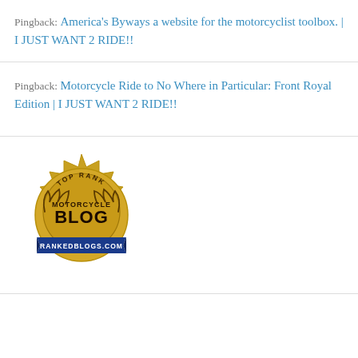Pingback: America's Byways a website for the motorcyclist toolbox. | I JUST WANT 2 RIDE!!
Pingback: Motorcycle Ride to No Where in Particular: Front Royal Edition | I JUST WANT 2 RIDE!!
[Figure (logo): Top Rank Motorcycle Blog badge from RankedBlogs.com - a gold seal/medallion with blue ribbon banner at bottom reading RANKEDBLOGS.COM]